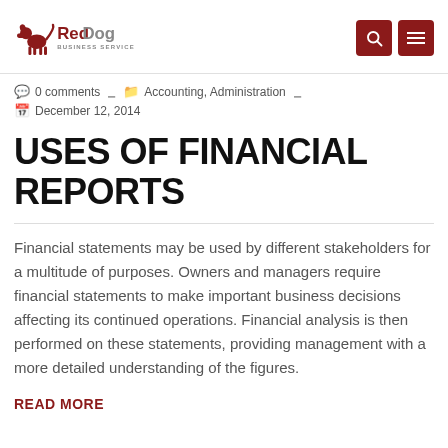Red Dog Business Services
0 comments  Accounting, Administration  December 12, 2014
USES OF FINANCIAL REPORTS
Financial statements may be used by different stakeholders for a multitude of purposes. Owners and managers require financial statements to make important business decisions affecting its continued operations. Financial analysis is then performed on these statements, providing management with a more detailed understanding of the figures.
READ MORE